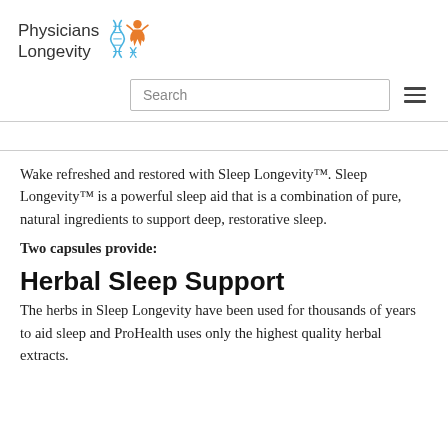[Figure (logo): Physicians Longevity logo with DNA helix and human figure icon in green and orange]
[Figure (other): Search input box and hamburger menu icon]
Wake refreshed and restored with Sleep Longevity™. Sleep Longevity™ is a powerful sleep aid that is a combination of pure, natural ingredients to support deep, restorative sleep.
Two capsules provide:
Herbal Sleep Support
The herbs in Sleep Longevity have been used for thousands of years to aid sleep and ProHealth uses only the highest quality herbal extracts.